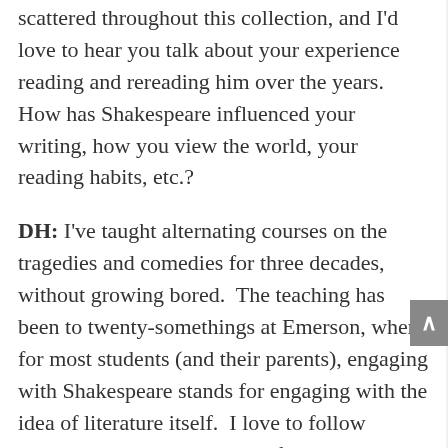scattered throughout this collection, and I'd love to hear you talk about your experience reading and rereading him over the years. How has Shakespeare influenced your writing, how you view the world, your reading habits, etc.?
DH: I've taught alternating courses on the tragedies and comedies for three decades, without growing bored.  The teaching has been to twenty-somethings at Emerson, where for most students (and their parents), engaging with Shakespeare stands for engaging with the idea of literature itself.  I love to follow Shakespeare's progress in craft and vision from the earlier to later plays; his “seeing deeper” into unpromising literary sources; his parallels and contrasts between genres, characters, and plots; his gender bending; his “cultural criticism.” And most of all his transformations